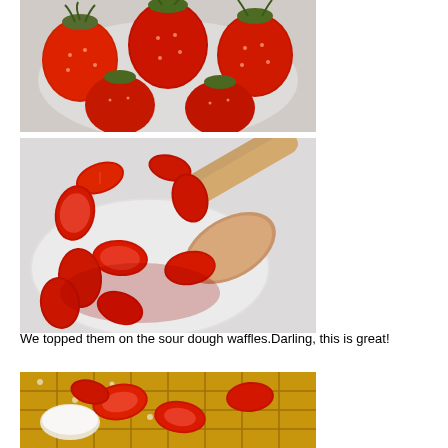[Figure (photo): Close-up photo of fresh whole strawberries with green stems in a white bowl, viewed from above]
[Figure (photo): Sliced and halved strawberries in a white bowl being stirred with a wooden spoon]
We topped them on the sour dough waffles.Darling, this is great!
[Figure (photo): Close-up of sourdough waffles topped with sliced strawberries and cream]